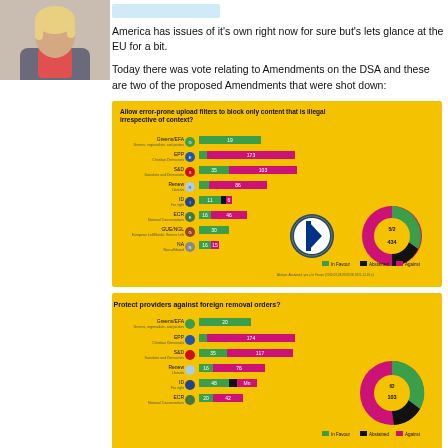[Figure (photo): Profile photo of a person with short blonde hair wearing a jacket]
America has issues of it's own right now for sure but's lets glance at the EU for a bit.
Today there was vote relating to Amendments on the DSA and these are two of the proposed Amendments that were shot down:
[Figure (grouped-bar-chart): Horizontal grouped bar chart with green (In Favour), black (Abstained), and pink/magenta (Against) bars for EU parliament groups including Greens/EFA, EPP, S&D, Renew, ID, ECR, GUE/NGL, NA. Donut chart on right showing totals 434 against, 5/2 in favour/abstained.]
[Figure (grouped-bar-chart): Horizontal grouped bar chart with green (In Favour), black (Abstained), and pink/magenta (Against) bars for EU parliament groups including Greens/EFA, EPP, S&D, Renew, ID, ECR. Donut chart on right showing totals 103/145 etc.]